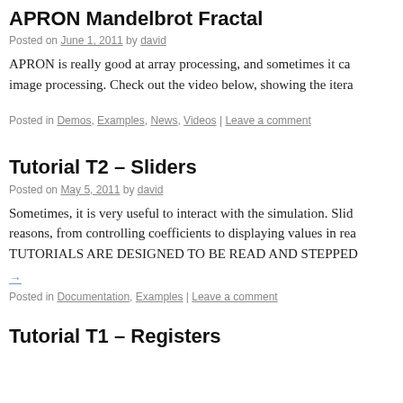APRON Mandelbrot Fractal
Posted on June 1, 2011 by david
APRON is really good at array processing, and sometimes it can image processing. Check out the video below, showing the itera
Posted in Demos, Examples, News, Videos | Leave a comment
Tutorial T2 – Sliders
Posted on May 5, 2011 by david
Sometimes, it is very useful to interact with the simulation. Slid reasons, from controlling coefficients to displaying values in rea TUTORIALS ARE DESIGNED TO BE READ AND STEPPED
→
Posted in Documentation, Examples | Leave a comment
Tutorial T1 – Registers